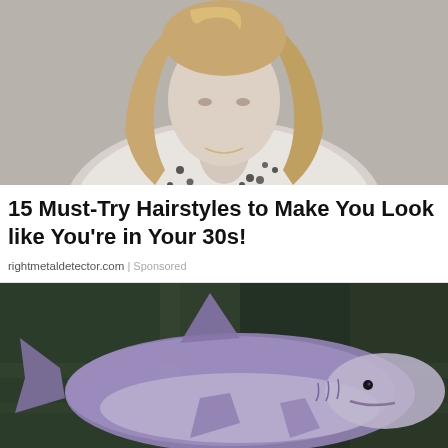[Figure (photo): Cropped photo of a woman with long blonde/brown wavy hair wearing a black and white patterned blouse, shown from shoulders up against a light grey background]
15 Must-Try Hairstyles to Make You Look like You're in Your 30s!
rightmetaldetector.com | Sponsored
[Figure (photo): Underwater/aquarium photo of a shark (appears to be a bull shark or similar species) swimming, with a purple/blue-grey tint, against a dark green background. A video progress bar is visible at the bottom of the image.]